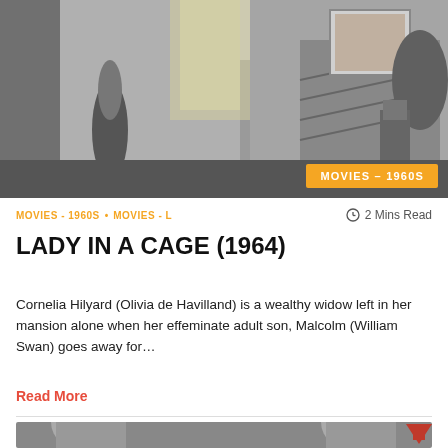[Figure (photo): Black and white still from Lady in a Cage (1964) showing an ornate mansion interior with staircase, elevator, decorative items, and plants. An orange badge reading 'MOVIES – 1960S' appears in the bottom right corner.]
MOVIES - 1960S • MOVIES - L   🕐 2 Mins Read
LADY IN A CAGE (1964)
Cornelia Hilyard (Olivia de Havilland) is a wealthy widow left in her mansion alone when her effeminate adult son, Malcolm (William Swan) goes away for…
Read More
[Figure (photo): Black and white still from a 1960s film showing several people in formal attire at what appears to be a social gathering. A red upward-pointing arrow overlay appears in the bottom right corner.]